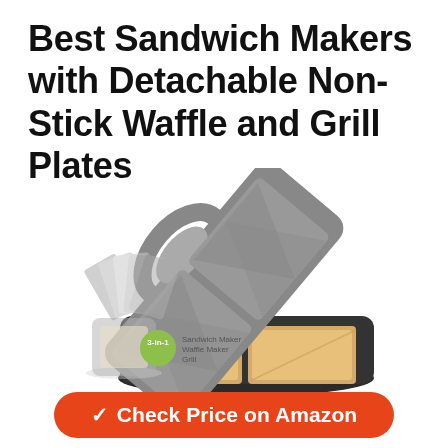Best Sandwich Makers with Detachable Non-Stick Waffle and Grill Plates
[Figure (photo): A 3-in-1 sandwich maker with detachable plates shown open with two sandwiches inside, and a smaller inset image showing multiple plate options fanned out. A green badge reads '3-in-1' with labels: Sandwich Maker, Waffle Maker, Grill.]
✔ Check Price on Amazon